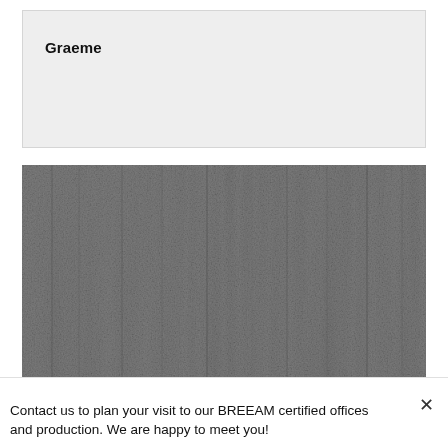Graeme
[Figure (photo): Dark textured photograph showing a grainy, noisy surface with vertical streaks, resembling a close-up of wood grain or a heavily degraded/dark image.]
Contact us to plan your visit to our BREEAM certified offices and production. We are happy to meet you!